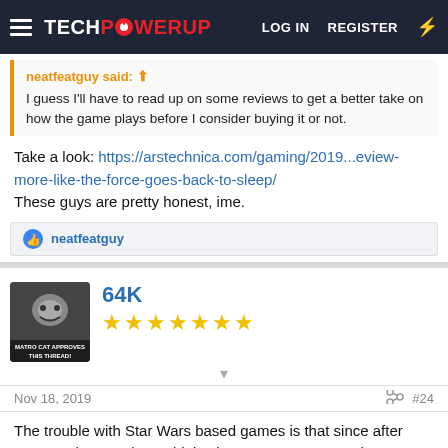TECHPOWERUP — LOG IN   REGISTER
neatfeatguy said: ↩
I guess I'll have to read up on some reviews to get a better take on how the game plays before I consider buying it or not.
Take a look: https://arstechnica.com/gaming/2019...eview-more-like-the-force-goes-back-to-sleep/
These guys are pretty honest, ime.
👍 neatfeatguy
64K
★★★★★★★
Nov 18, 2019   #24
The trouble with Star Wars based games is that since after KOTOR the Developer thinks that can serve up an almost mediocre game and the Star Wars Brand will still allow it to be successful. However most reviews so far are looking pretty